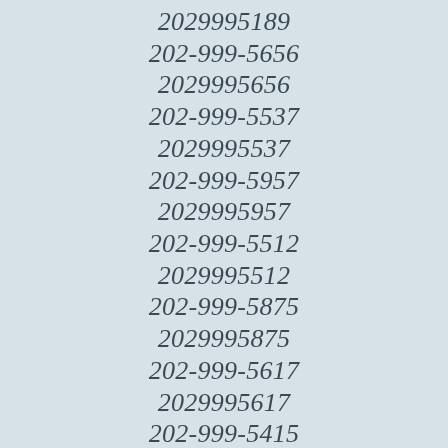2029995189
202-999-5656
2029995656
202-999-5537
2029995537
202-999-5957
2029995957
202-999-5512
2029995512
202-999-5875
2029995875
202-999-5617
2029995617
202-999-5415
2029995415
202-999-5652